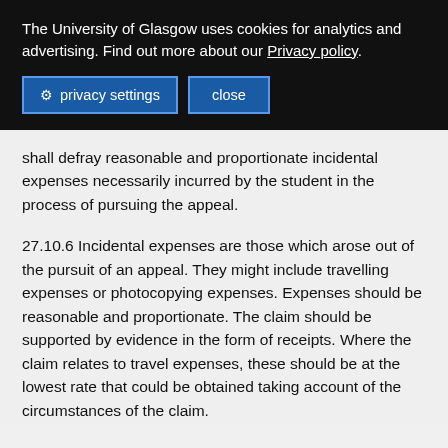The University of Glasgow uses cookies for analytics and advertising. Find out more about our Privacy policy.
privacy settings   close
shall defray reasonable and proportionate incidental expenses necessarily incurred by the student in the process of pursuing the appeal.
27.10.6 Incidental expenses are those which arose out of the pursuit of an appeal. They might include travelling expenses or photocopying expenses. Expenses should be reasonable and proportionate. The claim should be supported by evidence in the form of receipts. Where the claim relates to travel expenses, these should be at the lowest rate that could be obtained taking account of the circumstances of the claim.